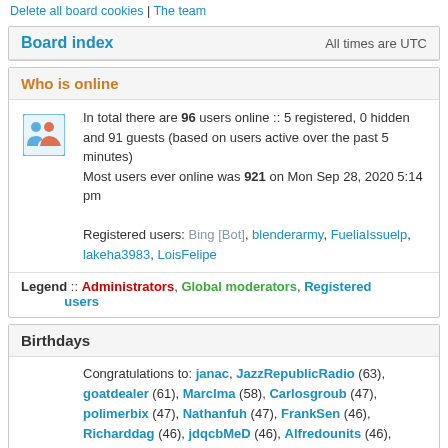Delete all board cookies | The team
Board index    All times are UTC
Who is online
In total there are 96 users online :: 5 registered, 0 hidden and 91 guests (based on users active over the past 5 minutes)
Most users ever online was 921 on Mon Sep 28, 2020 5:14 pm
Registered users: Bing [Bot], blenderarmy, FueliaIssuelp, lakeha3983, LoisFelipe
Legend :: Administrators, Global moderators, Registered users
Birthdays
Congratulations to: janac, JazzRepublicRadio (63), goatdealer (61), MarcIma (58), Carlosgroub (47), polimerbix (47), Nathanfuh (47), FrankSen (46), Richarddag (46), jdqcbMeD (46), Alfredounits (46), insectSlowl (45), LeraSwert (45), Mamievor (45),